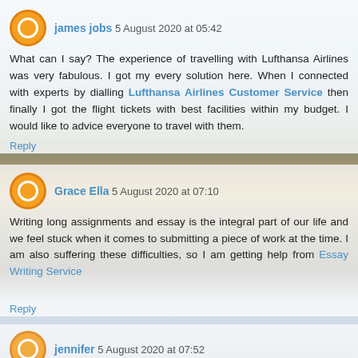james jobs 5 August 2020 at 05:42
What can I say? The experience of travelling with Lufthansa Airlines was very fabulous. I got my every solution here. When I connected with experts by dialling Lufthansa Airlines Customer Service then finally I got the flight tickets with best facilities within my budget. I would like to advice everyone to travel with them.
Reply
Grace Ella 5 August 2020 at 07:10
Writing long assignments and essay is the integral part of our life and we feel stuck when it comes to submitting a piece of work at the time. I am also suffering these difficulties, so I am getting help from Essay Writing Service
Reply
jennifer 5 August 2020 at 07:52